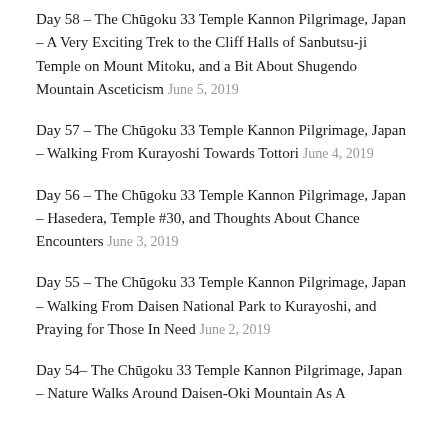Day 58 – The Chūgoku 33 Temple Kannon Pilgrimage, Japan – A Very Exciting Trek to the Cliff Halls of Sanbutsu-ji Temple on Mount Mitoku, and a Bit About Shugendo Mountain Asceticism June 5, 2019
Day 57 – The Chūgoku 33 Temple Kannon Pilgrimage, Japan – Walking From Kurayoshi Towards Tottori June 4, 2019
Day 56 – The Chūgoku 33 Temple Kannon Pilgrimage, Japan – Hasedera, Temple #30, and Thoughts About Chance Encounters June 3, 2019
Day 55 – The Chūgoku 33 Temple Kannon Pilgrimage, Japan – Walking From Daisen National Park to Kurayoshi, and Praying for Those In Need June 2, 2019
Day 54– The Chūgoku 33 Temple Kannon Pilgrimage, Japan – Nature Walks Around Daisen-Oki Mountain As A